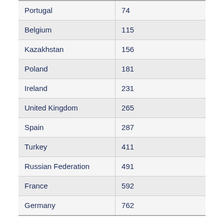| Portugal | 74 |
| Belgium | 115 |
| Kazakhstan | 156 |
| Poland | 181 |
| Ireland | 231 |
| United Kingdom | 265 |
| Spain | 287 |
| Turkey | 411 |
| Russian Federation | 491 |
| France | 592 |
| Germany | 762 |